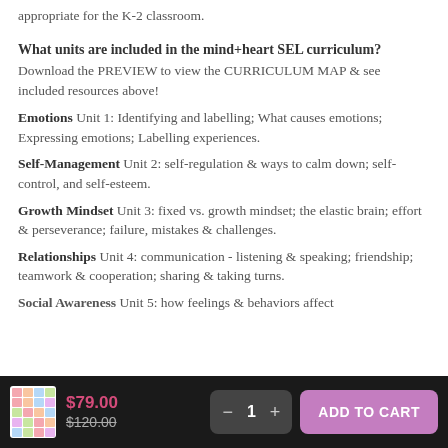appropriate for the K-2 classroom.
What units are included in the mind+heart SEL curriculum?
Download the PREVIEW to view the CURRICULUM MAP & see included resources above!
Emotions Unit 1: Identifying and labelling; What causes emotions; Expressing emotions; Labelling experiences.
Self-Management Unit 2: self-regulation & ways to calm down; self-control, and self-esteem.
Growth Mindset Unit 3: fixed vs. growth mindset; the elastic brain; effort & perseverance; failure, mistakes & challenges.
Relationships Unit 4: communication - listening & speaking; friendship; teamwork & cooperation; sharing & taking turns.
Social Awareness Unit 5: how feelings & behaviors affect...
$79.00  $120.00  1  ADD TO CART